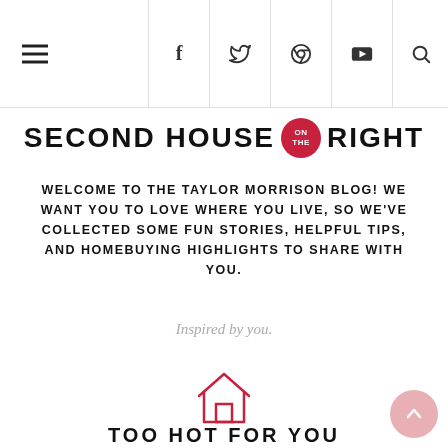Navigation bar with hamburger menu and social icons: f (Facebook), Twitter, Pinterest, YouTube, Search
SECOND HOUSE ON THE RIGHT
WELCOME TO THE TAYLOR MORRISON BLOG! WE WANT YOU TO LOVE WHERE YOU LIVE, SO WE'VE COLLECTED SOME FUN STORIES, HELPFUL TIPS, AND HOMEBUYING HIGHLIGHTS TO SHARE WITH YOU.
Inspired by you.
[Figure (illustration): Pink/red outline house icon]
TOO HOT FOR YOU